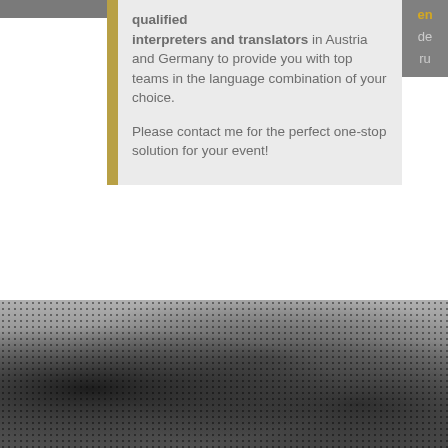qualified
interpreters and translators in Austria and Germany to provide you with top teams in the language combination of your choice.

Please contact me for the perfect one-stop solution for your event!
[Figure (photo): Grayscale halftone photo at the bottom of the page, showing blurred dark figures.]